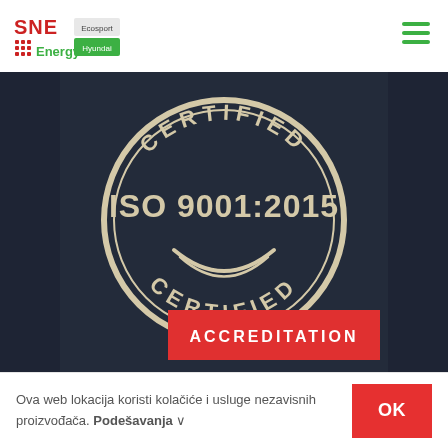[Figure (logo): SNE Energy logo with Ecosport and Hyundai branding, red and green text]
[Figure (illustration): Hamburger menu icon (three green horizontal lines) on right side of header]
[Figure (photo): Dark industrial background with ISO 9001:2015 CERTIFIED circular stamp badge in cream/beige on dark navy background, with ACCREDITATION red button below]
Ova web lokacija koristi kolačiće i usluge nezavisnih proizvođača. Podešavanja ∨
OK